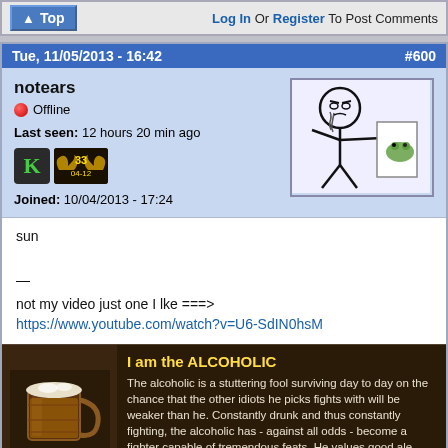Top | Log In Or Register To Post Comments
Tue, 11/05/2013 - 16:42   #600
notears
Offline
Last seen: 12 hours 20 min ago
Joined: 10/04/2013 - 17:24
[Figure (illustration): Stick figure meme character looking at frog on paper]
sun

—

not my video just one I lke ===>
https://www.youtube.com/watch?v=U6-SdIN0hsM
[Figure (infographic): I am the ALCOHOLIC banner: The alcoholic is a stuttering fool surviving day to day on the chance that the other idiots he picks fights with will be weaker than he. Constantly drunk and thus constantly fighting, the alcoholic has - against all odds - become a fighter capable of tremendous feats. He values good ale above all else!]